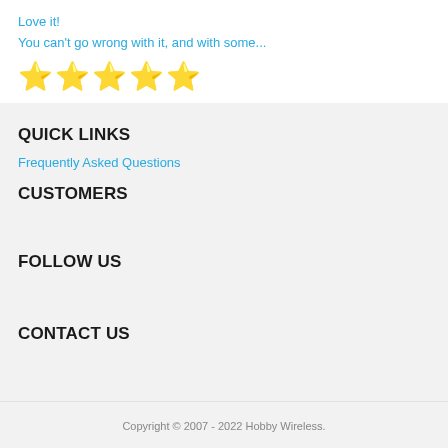Love it!
You can't go wrong with it, and with some...
[Figure (other): Five gold star rating icons]
QUICK LINKS
Frequently Asked Questions
CUSTOMERS
FOLLOW US
CONTACT US
Copyright © 2007 - 2022 Hobby Wireless.